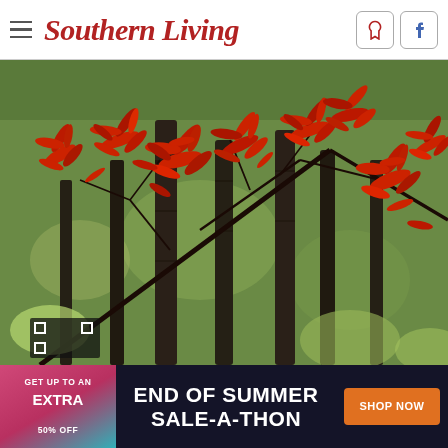Southern Living
[Figure (photo): Red Japanese maple leaves on dark branches against a background of tall pine trees and green foliage in a forest setting. A camera viewfinder icon is visible in the bottom-left corner of the image.]
GET UP TO AN EXTRA 50% OFF  END OF SUMMER SALE-A-THON  SHOP NOW